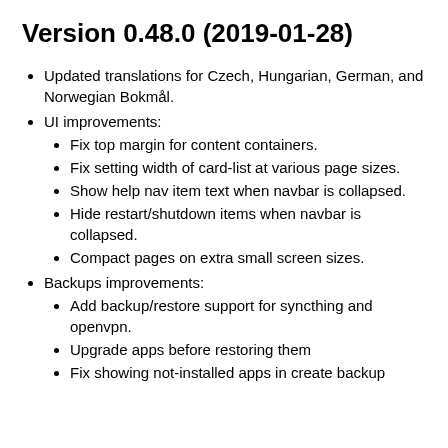Version 0.48.0 (2019-01-28)
Updated translations for Czech, Hungarian, German, and Norwegian Bokmål.
UI improvements:
Fix top margin for content containers.
Fix setting width of card-list at various page sizes.
Show help nav item text when navbar is collapsed.
Hide restart/shutdown items when navbar is collapsed.
Compact pages on extra small screen sizes.
Backups improvements:
Add backup/restore support for syncthing and openvpn.
Upgrade apps before restoring them
Fix showing not-installed apps in create backup